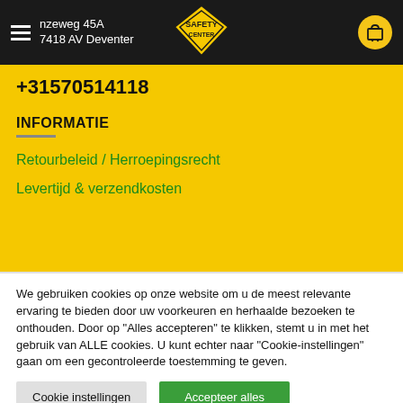nzeweg 45A  7418 AV Deventer
[Figure (logo): Safety Center logo - yellow diamond shape with text SAFETY CENTER]
+31570514118
INFORMATIE
Retourbeleid / Herroepingsrecht
Levertijd & verzendkosten
We gebruiken cookies op onze website om u de meest relevante ervaring te bieden door uw voorkeuren en herhaalde bezoeken te onthouden. Door op "Alles accepteren" te klikken, stemt u in met het gebruik van ALLE cookies. U kunt echter naar "Cookie-instellingen" gaan om een gecontroleerde toestemming te geven.
Cookie instellingen | Accepteer alles